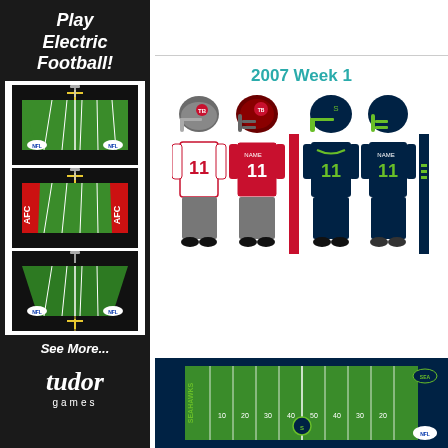Play Electric Football!
[Figure (illustration): Three electric football game boards stacked vertically showing NFL, AFC and NFL branded fields in perspective view]
See More...
[Figure (logo): Tudor Games logo in italic script with 'games' below]
2007 Week 1
[Figure (illustration): Tampa Bay Buccaneers and Seattle Seahawks football uniforms side by side - showing helmets and full uniform fronts and backs, number 11 jerseys]
[Figure (illustration): Seattle Seahawks branded electric football field with yard markers]